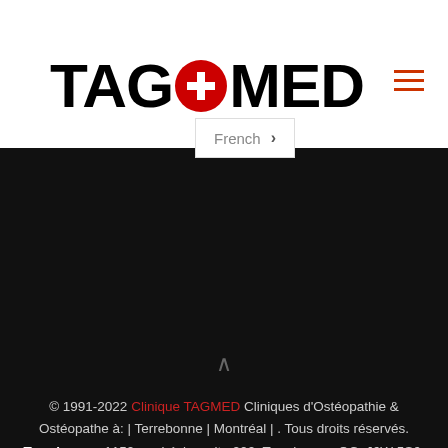[Figure (logo): TAGOMED logo with red plus sign circle in place of the letter O]
French >
© 1991-2022 Clinique TAGMED Cliniques d'Ostéopathie & Ostéopathe à: | Terrebonne | Montréal | . Tous droits réservés.
Terrebonne: 1150 rue Lévis, suite 200, Terrebonne, QC, J6W 5S6, Tél: (450) 704-4447
Neurothérapie Montréal: 1140 Beaumont, Mont-Royal, QC, H3P 3E5, Tél: 1 (877) 672-9060
Membre de L'ACMA Association & du Collège des Ostéopathes Canadiens